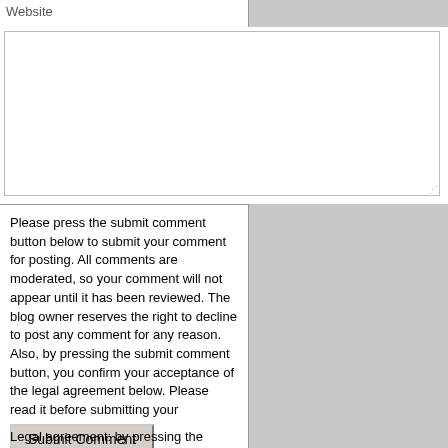Website
Please press the submit comment button below to submit your comment for posting. All comments are moderated, so your comment will not appear until it has been reviewed. The blog owner reserves the right to decline to post any comment for any reason. Also, by pressing the submit comment button, you confirm your acceptance of the legal agreement below. Please read it before submitting your comment.
Submit Comment
Legal agreement: by pressing the